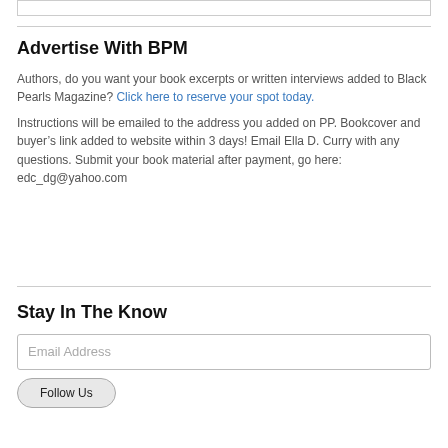Advertise With BPM
Authors, do you want your book excerpts or written interviews added to Black Pearls Magazine? Click here to reserve your spot today.
Instructions will be emailed to the address you added on PP. Bookcover and buyer's link added to website within 3 days! Email Ella D. Curry with any questions. Submit your book material after payment, go here: edc_dg@yahoo.com
Stay In The Know
Email Address
Follow Us